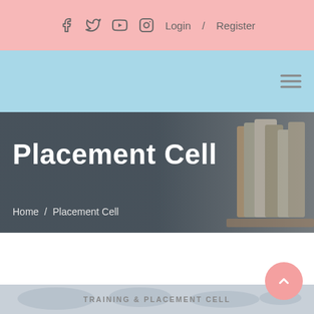f  t  yt  ig  Login / Register
[Figure (screenshot): Light blue navigation bar with hamburger menu icon on the right]
Placement Cell
Home / Placement Cell
[Figure (screenshot): Bottom banner with world map graphic and text TRAINING & PLACEMENT CELL]